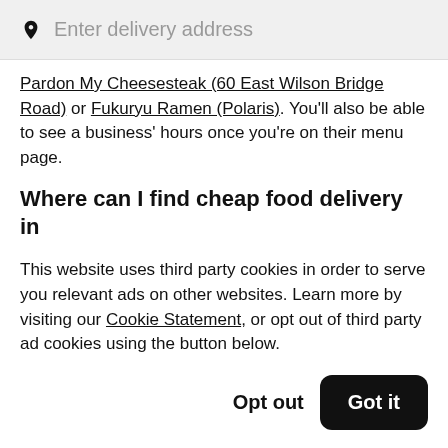Enter delivery address
Pardon My Cheesesteak (60 East Wilson Bridge Road) or Fukuryu Ramen (Polaris). You'll also be able to see a business' hours once you're on their menu page.
Where can I find cheap food delivery in Westerville?
Browse restaurants and shops tagged with one "$" to
This website uses third party cookies in order to serve you relevant ads on other websites. Learn more by visiting our Cookie Statement, or opt out of third party ad cookies using the button below.